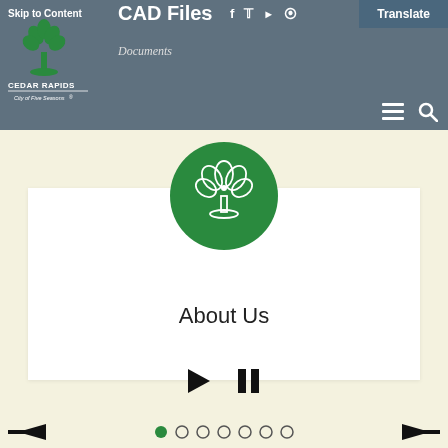Skip to Content
CAD Files
Documents
[Figure (logo): Cedar Rapids City of Five Seasons logo with tree icon]
Translate
[Figure (illustration): Cedar Rapids logo green circle with tree/flower icon]
About Us
[Figure (infographic): Slideshow controls: play button and pause button]
[Figure (infographic): Navigation row: left arrow, dot indicators (first filled, rest empty), right arrow]